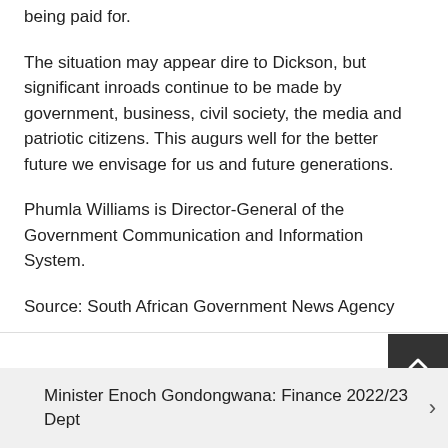being paid for.
The situation may appear dire to Dickson, but significant inroads continue to be made by government, business, civil society, the media and patriotic citizens. This augurs well for the better future we envisage for us and future generations.
Phumla Williams is Director-General of the Government Communication and Information System.
Source: South African Government News Agency
Child labour an enemy of progress – President Ramaphosa
Minister Enoch Gondongwana: Finance 2022/23 Dept